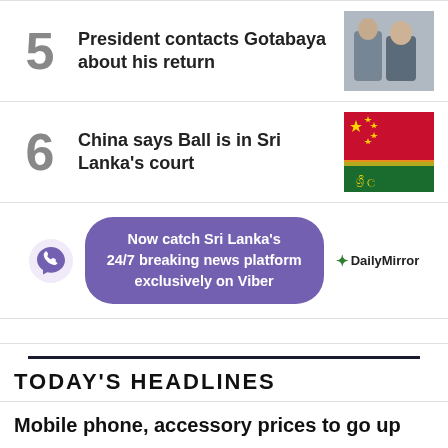5 President contacts Gotabaya about his return
[Figure (photo): Two men in formal attire]
6 China says Ball is in Sri Lanka's court
[Figure (photo): China and Sri Lanka flags]
[Figure (infographic): Viber banner: Now catch Sri Lanka's 24/7 breaking news platform exclusively on Viber. Daily Mirror logo.]
TODAY'S HEADLINES
Mobile phone, accessory prices to go up